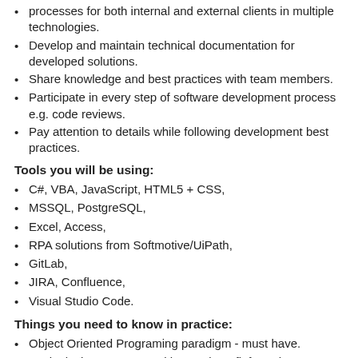processes for both internal and external clients in multiple technologies.
Develop and maintain technical documentation for developed solutions.
Share knowledge and best practices with team members.
Participate in every step of software development process e.g. code reviews.
Pay attention to details while following development best practices.
Tools you will be using:
C#, VBA, JavaScript, HTML5 + CSS,
MSSQL, PostgreSQL,
Excel, Access,
RPA solutions from Softmotive/UiPath,
GitLab,
JIRA, Confluence,
Visual Studio Code.
Things you need to know in practice:
Object Oriented Programing paradigm - must have.
Basic design patterns and how to benefit from them.
SQL base syntax (selects, joins, conditions etc.).
Web API concepts like REST.
How modern Web Apps works.
English on B2/C1 level - as we use it on everyday basis.
Things you need to have:
Analytical skills.
Willingness to develop practical skills in various areas.